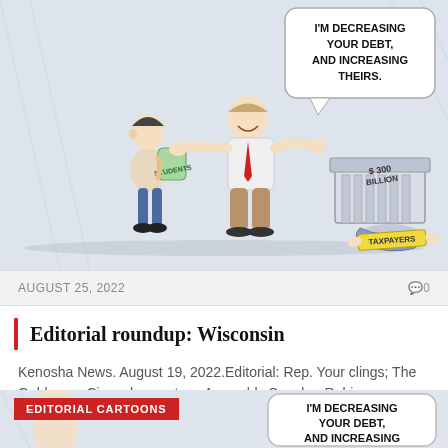[Figure (illustration): Editorial cartoon showing a man with a 'STUDENTS' backpack, a politician figure gesturing toward a structure labeled '$300 BILLION' crushing 'TAXPAYERS'. Speech bubble says: I'M DECREASING YOUR DEBT, AND INCREASING THEIRS.]
AUGUST 25, 2022
0
Editorial roundup: Wisconsin
Kenosha News. August 19, 2022.Editorial: Rep. Your clings; The Gableman Circus leaves townAssembly Speaker Robin…
[Figure (illustration): Second editorial cartoon partially visible at the bottom showing 'EDITORIAL CARTOONS' label and speech bubble: I'M DECREASING YOUR DEBT, AND INCREASING]